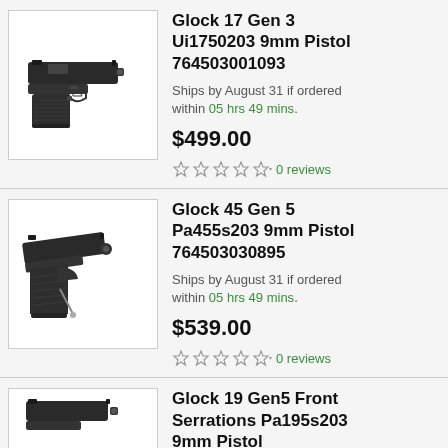[Figure (photo): Black Glock 17 Gen 3 semi-automatic pistol, side profile view facing left]
Glock 17 Gen 3 Ui1750203 9mm Pistol 764503001093
Ships by August 31 if ordered within 05 hrs 49 mins.
$499.00
0 reviews
[Figure (photo): Black Glock 45 Gen 5 semi-automatic pistol, angled view facing left-forward]
Glock 45 Gen 5 Pa455s203 9mm Pistol 764503030895
Ships by August 31 if ordered within 05 hrs 49 mins.
$539.00
0 reviews
[Figure (photo): Black Glock 19 Gen5 semi-automatic pistol, partial view]
Glock 19 Gen5 Front Serrations Pa195s203 9mm Pistol